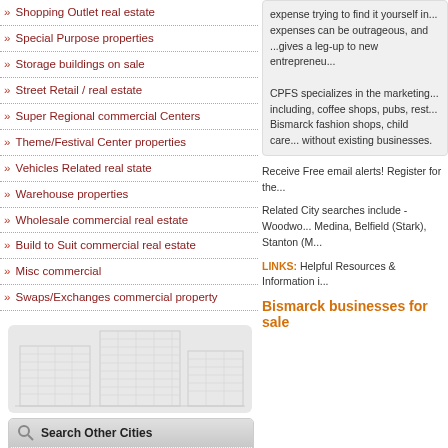» Shopping Outlet real estate
» Special Purpose properties
» Storage buildings on sale
» Street Retail / real estate
» Super Regional commercial Centers
» Theme/Festival Center properties
» Vehicles Related real state
» Warehouse properties
» Wholesale commercial real estate
» Build to Suit commercial real estate
» Misc commercial
» Swaps/Exchanges commercial property
[Figure (illustration): Wireframe architectural illustration of commercial buildings in light gray]
Search Other Cities
» Woodworth (ND) real estate
expense trying to find it yourself in... expenses can be outrageous, and ... gives a leg-up to new entrepreneu...
CPFS specializes in the marketing... including, coffee shops, pubs, rest... Bismarck fashion shops, child care... without existing businesses.
Receive Free email alerts! Register for the...
Related City searches include - Woodwo... Medina, Belfield (Stark), Stanton (M...
LINKS: Helpful Resources & Information i...
Bismarck businesses for sale